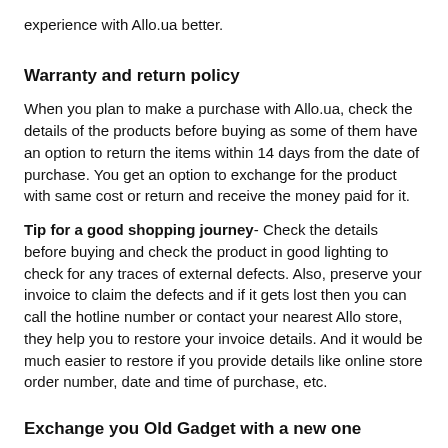experience with Allo.ua better.
Warranty and return policy
When you plan to make a purchase with Allo.ua, check the details of the products before buying as some of them have an option to return the items within 14 days from the date of purchase. You get an option to exchange for the product with same cost or return and receive the money paid for it.
Tip for a good shopping journey- Check the details before buying and check the product in good lighting to check for any traces of external defects. Also, preserve your invoice to claim the defects and if it gets lost then you can call the hotline number or contact your nearest Allo store, they help you to restore your invoice details. And it would be much easier to restore if you provide details like online store order number, date and time of purchase, etc.
Exchange you Old Gadget with a new one
There is an Allo exchange program, you can simply exchange your old gadget with a new gadget like a mobile, laptop, camera, smart watch,